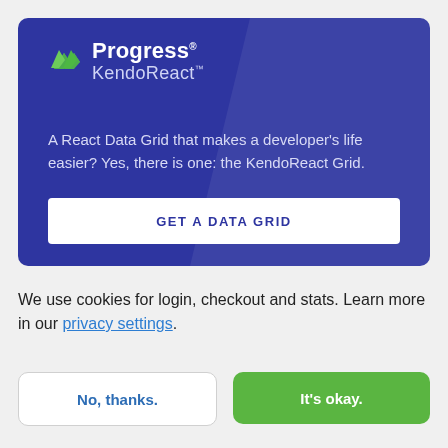[Figure (logo): Progress KendoReact logo and promotional banner with blue background, diagonal highlight, tagline text, and GET A DATA GRID call-to-action button]
We use cookies for login, checkout and stats. Learn more in our privacy settings.
No, thanks.
It's okay.